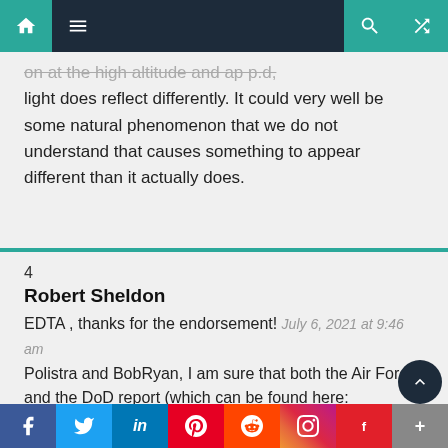Navigation bar with home, menu, search, and shuffle icons
on at the high altitude and ap p.d, light does reflect differently. It could very well be some natural phenomenon that we do not understand that causes something to appear different than it actually does.
4
Robert Sheldon
EDTA , thanks for the endorsement! July 6, 2021 at 9:46 am Polistra and BobRyan, I am sure that both the Air Force and the DoD report (which can be found here: https://www.dni.gov/index.php/newsroom/reports-publications/reports-publications-2021/item/222
Social sharing bar: Facebook, Twitter, LinkedIn, Pinterest, Reddit, Instagram, Flipboard, More